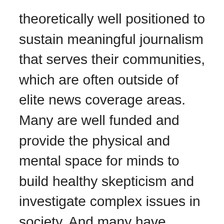theoretically well positioned to sustain meaningful journalism that serves their communities, which are often outside of elite news coverage areas. Many are well funded and provide the physical and mental space for minds to build healthy skepticism and investigate complex issues in society. And many have housed public radio stations for decades, without imposing limits on editorial or financial independence. Even today, recognizing the possibility of political interference from university administrators, some stations have deliberately created policies to maintain